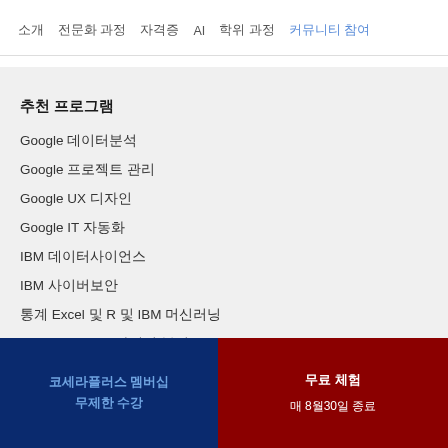소개   전문화 과정   자격증   AI   학위 과정   커뮤니티 참여
추천 프로그램
Google 데이터분석
Google 프로젝트 관리
Google UX 디자인
Google IT 자동화
IBM 데이터사이언스
IBM 사이버보안
통계 Excel 및 R 및 IBM 머신러닝
코세라플러스 멤버십 무제한 수강   무료 체험 매 8월30일 종료